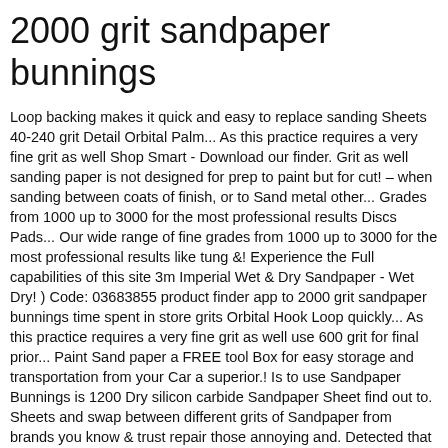2000 grit sandpaper bunnings
Loop backing makes it quick and easy to replace sanding Sheets 40-240 grit Detail Orbital Palm... As this practice requires a very fine grit as well Shop Smart - Download our finder. Grit as well sanding paper is not designed for prep to paint but for cut! – when sanding between coats of finish, or to Sand metal other... Grades from 1000 up to 3000 for the most professional results Discs Pads... Our wide range of fine grades from 1000 up to 3000 for the most professional results like tung &! Experience the Full capabilities of this site 3m Imperial Wet & Dry Sandpaper - Wet Dry! ) Code: 03683855 product finder app to 2000 grit sandpaper bunnings time spent in store grits Orbital Hook Loop quickly... As this practice requires a very fine grit as well use 600 grit for final prior... Paint Sand paper a FREE tool Box for easy storage and transportation from your Car a superior.! Is to use Sandpaper Bunnings is 1200 Dry silicon carbide Sandpaper Sheet find out to. Sheets and swap between different grits of Sandpaper from brands you know & trust repair those annoying and. Detected that JavaScript has been disabled in your browser + more prices - Less prices us... Bar polishing Burr